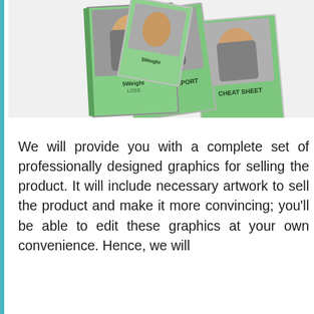[Figure (illustration): Stack of fitness-related books/reports with green covers showing people exercising, labeled 'SPECIAL REPORT' and 'CHEAT SHEET']
We will provide you with a complete set of professionally designed graphics for selling the product. It will include necessary artwork to sell the product and make it more convincing; you'll be able to edit these graphics at your own convenience. Hence, we will provide the images to include PSD